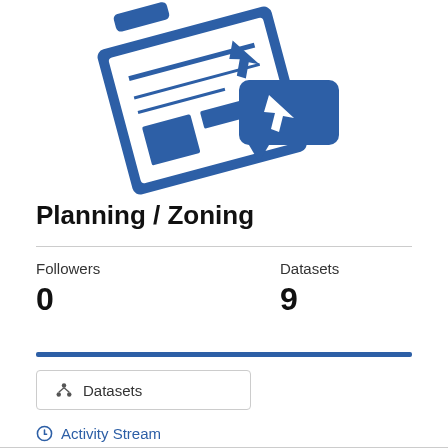[Figure (logo): Blue Planning/Zoning icon showing a blueprint or map document with a cursor arrow, tilted at an angle]
Planning / Zoning
Followers
0
Datasets
9
Datasets
Activity Stream
About